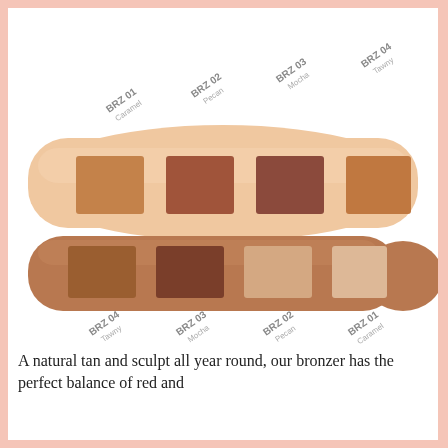[Figure (photo): Photo of two arms showing bronzer swatches. Top arm (light skin tone) shows four swatches labeled BRZ 01 Caramel, BRZ 02 Pecan, BRZ 03 Mocha, BRZ 04 Tawny from left to right. Bottom arm (darker skin tone) shows four swatches labeled BRZ 04 Tawny, BRZ 03 Mocha, BRZ 02 Pecan, BRZ 01 Caramel from left to right.]
A natural tan and sculpt all year round, our bronzer has the perfect balance of red and